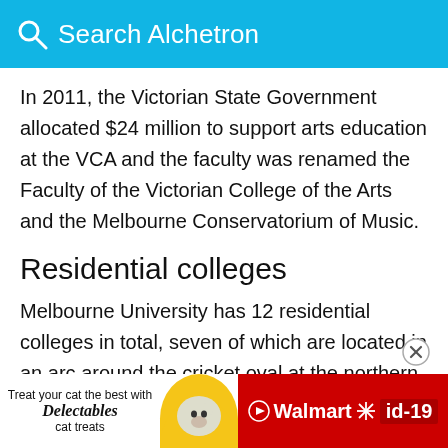Search Alchetron
In 2011, the Victorian State Government allocated $24 million to support arts education at the VCA and the faculty was renamed the Faculty of the Victorian College of the Arts and the Melbourne Conservatorium of Music.
Residential colleges
Melbourne University has 12 residential colleges in total, seven of which are located in an arc around the cricket oval at the northern edge of the campus, known as College Crescent. The other five are located outside of university grounds.
[Figure (infographic): Advertisement banner for Walmart Delectables cat treats, showing text 'Treat your cat the best with Delectables cat treats', a cat image, Walmart logo with spark symbol, and id-19 badge.]